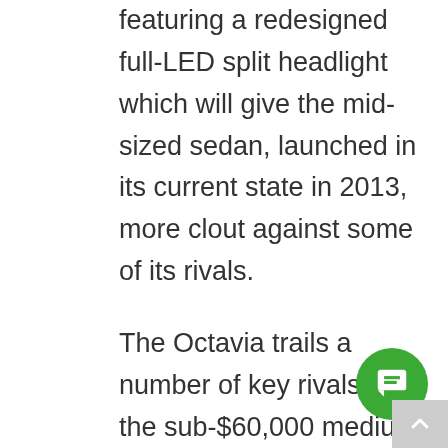featuring a redesigned full-LED split headlight which will give the mid-sized sedan, launched in its current state in 2013, more clout against some of its rivals.

The Octavia trails a number of key rivals in the sub-$60,000 medium-sized passenger car segment, including the Toyota Camry, Mazda6, Subaru Liberty, Volkswagen Passat and Ford Mondeo.